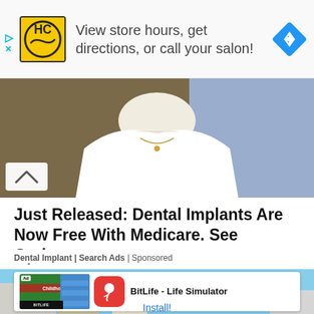[Figure (screenshot): Top banner ad: HC (Haircut) salon logo on yellow background, text 'View store hours, get directions, or call your salon!', blue diamond navigation icon on right. Small play and X buttons on left edge.]
[Figure (photo): Photo of woman in white dress/top from shoulders down, with necklace, brownish/olive background]
Just Released: Dental Implants Are Now Free With Medicare. See Options
Dental Implant | Search Ads | Sponsored
[Figure (screenshot): Bottom advertisement: building/architecture photo background with overlaid app ad card for BitLife - Life Simulator showing game screenshots, red app icon with sperm cell graphic, and Install button]